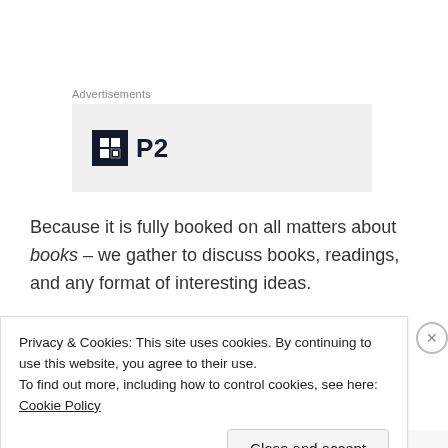Advertisements
[Figure (logo): Advertisement box with P2 logo - dark square icon with grid pattern and 'P2' text]
Because it is fully booked on all matters about books – we gather to discuss books, readings, and any format of interesting ideas.
Can I walk in even though the Club is
Privacy & Cookies: This site uses cookies. By continuing to use this website, you agree to their use.
To find out more, including how to control cookies, see here: Cookie Policy
Close and accept